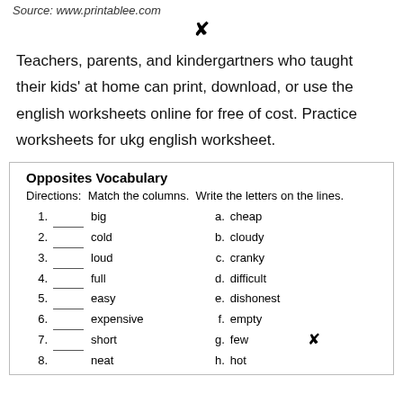Source: www.printablee.com
Teachers, parents, and kindergartners who taught their kids' at home can print, download, or use the english worksheets online for free of cost. Practice worksheets for ukg english worksheet.
Opposites Vocabulary
Directions:  Match the columns.  Write the letters on the lines.
1. ___ big   a. cheap
2. ___ cold   b. cloudy
3. ___ loud   c. cranky
4. ___ full   d. difficult
5. ___ easy   e. dishonest
6. ___ expensive   f. empty
7. ___ short   g. few
8. neat   h. hot